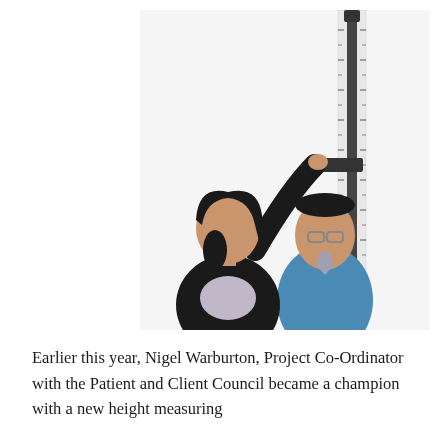[Figure (photo): A woman in a black jacket measures the height of a man in a blue sweater who is wearing glasses. She reaches up to adjust a stadiometer (height measurement ruler) mounted on the wall. The man stands upright looking forward. Clinical/research setting with white background.]
Earlier this year, Nigel Warburton, Project Co-Ordinator with the Patient and Client Council became a champion with a new height measuring